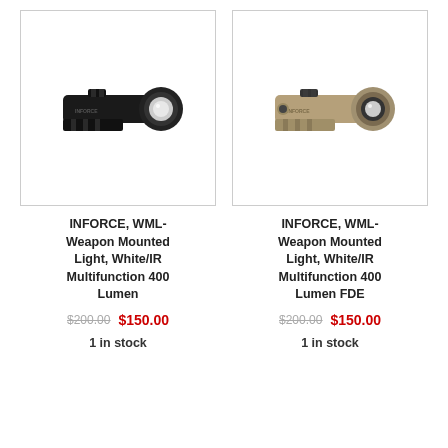[Figure (photo): INFORCE WML black weapon mounted light, side profile view]
INFORCE, WML- Weapon Mounted Light, White/IR Multifunction 400 Lumen
$200.00  $150.00
1 in stock
[Figure (photo): INFORCE WML FDE (flat dark earth/tan) weapon mounted light, side profile view]
INFORCE, WML- Weapon Mounted Light, White/IR Multifunction 400 Lumen FDE
$200.00  $150.00
1 in stock